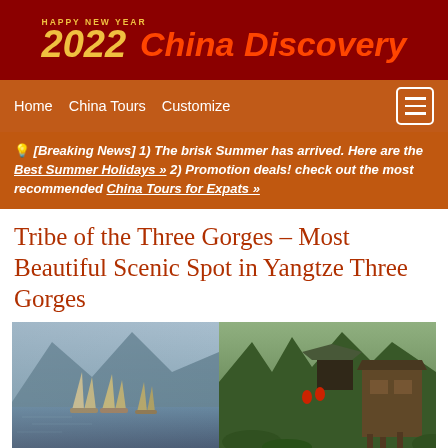[Figure (logo): China Discovery logo with Happy New Year 2022 text on dark red background]
Home  China Tours  Customize
💡 [Breaking News] 1) The brisk Summer has arrived. Here are the Best Summer Holidays » 2) Promotion deals! check out the most recommended China Tours for Expats »
Tribe of the Three Gorges – Most Beautiful Scenic Spot in Yangtze Three Gorges
[Figure (photo): Two-panel photo: left shows traditional sailboats on the Yangtze River with misty mountains; right shows traditional Chinese wooden stilt houses with lush green vegetation]